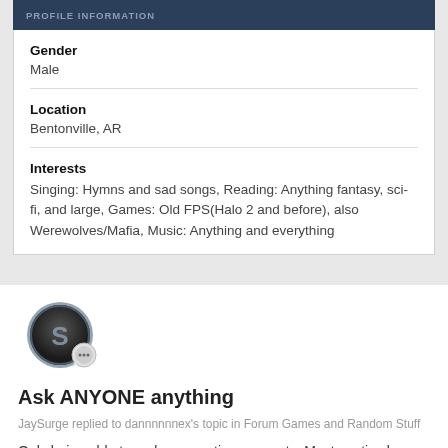PROFILE INFORMATION
Gender
Male
Location
Bentonville, AR
Interests
Singing: Hymns and sad songs, Reading: Anything fantasy, sci-fi, and large, Games: Old FPS(Halo 2 and before), also Werewolves/Mafia, Music: Anything and everything
[Figure (logo): Circular logo with stylized S letter and a speech bubble icon overlay]
Ask ANYONE anything
JaySurge replied to dannnnnnex's topic in Forum Games and Random Stuff
Only being able to make sarcastic comments. Most exotic place you